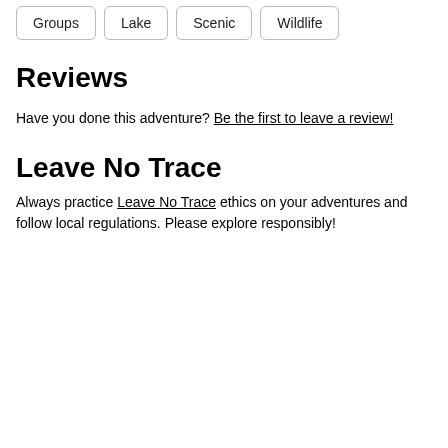Groups
Lake
Scenic
Wildlife
Reviews
Have you done this adventure? Be the first to leave a review!
Leave No Trace
Always practice Leave No Trace ethics on your adventures and follow local regulations. Please explore responsibly!